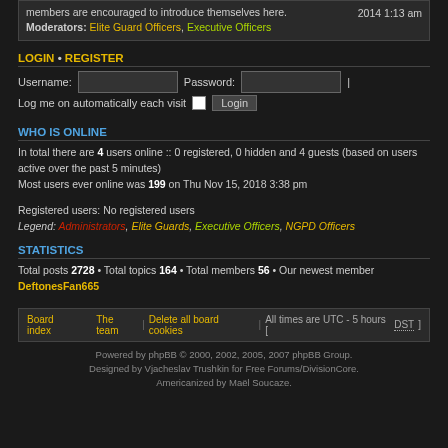members are encouraged to introduce themselves here.
Moderators: Elite Guard Officers, Executive Officers
2014 1:13 am
LOGIN • REGISTER
Username: [input] Password: [input] |
Log me on automatically each visit [checkbox] Login
WHO IS ONLINE
In total there are 4 users online :: 0 registered, 0 hidden and 4 guests (based on users active over the past 5 minutes)
Most users ever online was 199 on Thu Nov 15, 2018 3:38 pm
Registered users: No registered users
Legend: Administrators, Elite Guards, Executive Officers, NGPD Officers
STATISTICS
Total posts 2728 • Total topics 164 • Total members 56 • Our newest member DeftonesFan665
Board index   The team | Delete all board cookies | All times are UTC - 5 hours [ DST ]
Powered by phpBB © 2000, 2002, 2005, 2007 phpBB Group.
Designed by Vjacheslav Trushkin for Free Forums/DivisionCore.
Americanized by Maël Soucaze.